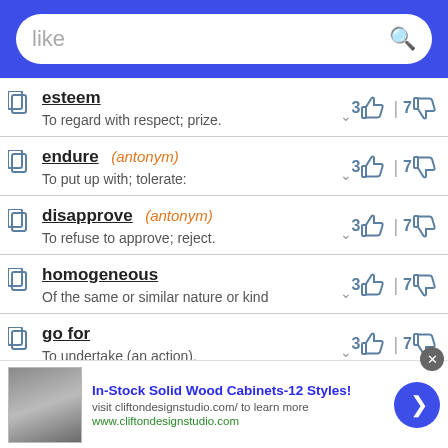[Figure (screenshot): Search bar with text 'like' on blue background]
esteem — To regard with respect; prize. — votes: 3 up, 7 down
endure (antonym) — To put up with; tolerate: — votes: 3 up, 7 down
disapprove (antonym) — To refuse to approve; reject. — votes: 3 up, 7 down
homogeneous — Of the same or similar nature or kind — votes: 3 up, 7 down
go for — To undertake (an action). — votes: 3 up, 7 down
In-Stock Solid Wood Cabinets-12 Styles! visit cliftondesignstudio.com/ to learn more www.cliftondesignstudio.com